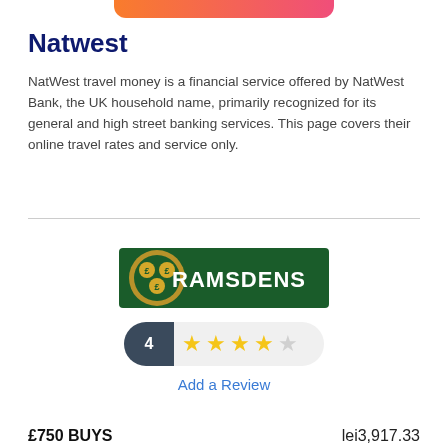[Figure (other): Orange to pink gradient decorative bar at top center]
Natwest
NatWest travel money is a financial service offered by NatWest Bank, the UK household name, primarily recognized for its general and high street banking services. This page covers their online travel rates and service only.
[Figure (logo): Ramsdens logo: dark green rectangle with gold coin symbol on left and white RAMSDENS text on right]
[Figure (other): Rating widget showing number 4 in dark badge and 4 gold stars out of 5 on light pill background]
Add a Review
£750 BUYS
lei3,917.33